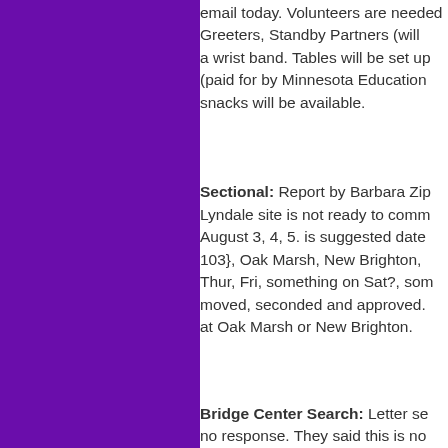email today. Volunteers are need... Greeters, Standby Partners (will... a wrist band. Tables will be set up... (paid for by Minnesota Education... snacks will be available.
Sectional: Report by Barbara Zip... Lyndale site is not ready to comm... August 3, 4, 5. is suggested date... 103}, Oak Marsh, New Brighton,... Thur, Fri, something on Sat?, som... moved, seconded and approved.... at Oak Marsh or New Brighton.
Bridge Center Search: Letter se... no response. They said this is no... revisit at a later time. Barb Zipoy... ...Who would revisit? Estim...